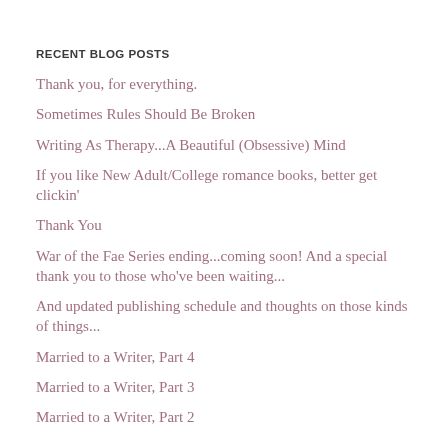RECENT BLOG POSTS
Thank you, for everything.
Sometimes Rules Should Be Broken
Writing As Therapy...A Beautiful (Obsessive) Mind
If you like New Adult/College romance books, better get clickin'
Thank You
War of the Fae Series ending...coming soon! And a special thank you to those who've been waiting...
And updated publishing schedule and thoughts on those kinds of things...
Married to a Writer, Part 4
Married to a Writer, Part 3
Married to a Writer, Part 2